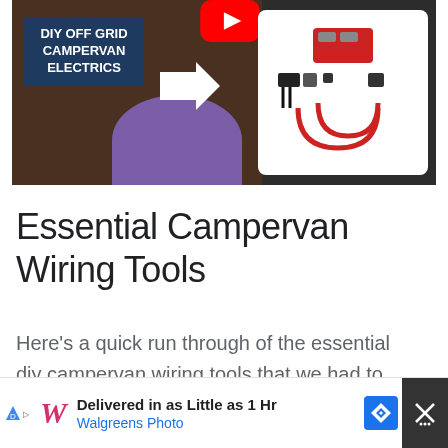[Figure (screenshot): YouTube thumbnail for DIY Off Grid Campervan Electrics video, showing text label on dark background on left and electronics/wiring components panel on right]
Essential Campervan Wiring Tools
Here’s a quick run through of the essential diy campervan wiring tools that we had to purchase:
Watt Meter
[Figure (screenshot): Walgreens advertisement banner: Delivered in as Little as 1 Hr, Walgreens Photo, with navigation arrow icon and close button]